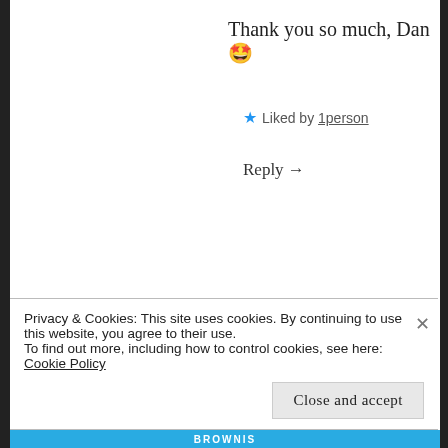Thank you so much, Dan 🤩
★ Liked by 1person
Reply →
NOBLEMANWARRIOR
January 1, 2020 at 12:50 pm
Good work Ritu! I hope great things for you with this process. I really hope I can
Privacy & Cookies: This site uses cookies. By continuing to use this website, you agree to their use.
To find out more, including how to control cookies, see here: Cookie Policy
Close and accept